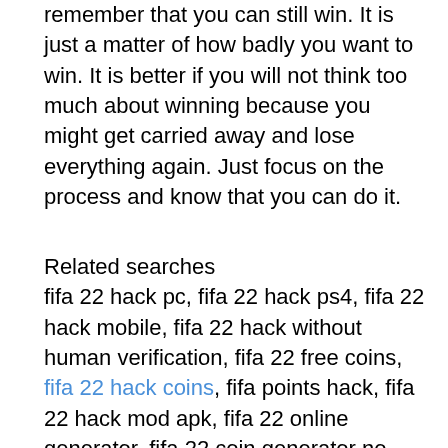remember that you can still win. It is just a matter of how badly you want to win. It is better if you will not think too much about winning because you might get carried away and lose everything again. Just focus on the process and know that you can do it.
Related searches fifa 22 hack pc, fifa 22 hack ps4, fifa 22 hack mobile, fifa 22 hack without human verification, fifa 22 free coins, fifa 22 hack coins, fifa points hack, fifa 22 hack mod apk, fifa 22 online generator, fifa 22 coin generator no survey, fifa 22 free coins generator, fifa 22 points code generator, fifa 22 coin generator ps4, free fifa coins generator, fifa 22 coins generator xbox one, fifa 22 coin generator no survey, fifa 22 online generator, fifa 22 points code generator, fifa 22 free coin generator no human verification, fifa 22 coin generator ps4, fifa 22 coin generator free, fifa 22 generator without human verification, free fifa coins generator, coin generator fifa 22, fifa 22 cheats ps4, fifa 22 cheats xbox